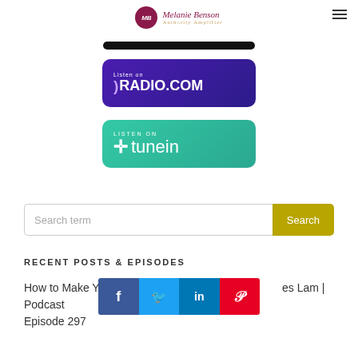MB Melanie Benson Authority Amplifier
[Figure (logo): Melanie Benson Authority Amplifier logo with circular MB emblem and hamburger menu icon]
[Figure (screenshot): Black bar element at top]
[Figure (screenshot): Listen on RADIO.COM badge - purple gradient button]
[Figure (screenshot): LISTEN ON tunein badge - teal gradient button]
Search term
Search
RECENT POSTS & EPISODES
How to Make You...es Lam | Podcast Episode 297
[Figure (infographic): Social sharing bar with Facebook, Twitter, LinkedIn, Pinterest icons]